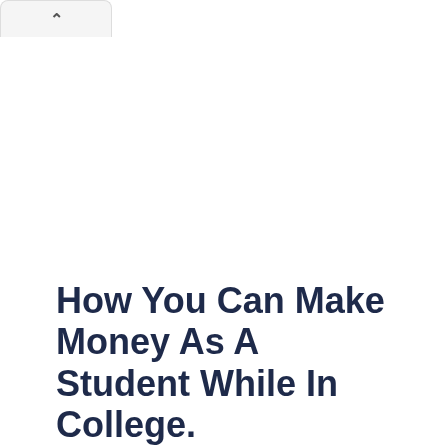How You Can Make Money As A Student While In College.
Uncategorized, Blog / By Christabel Ireri
How you can make money as a student while in college.